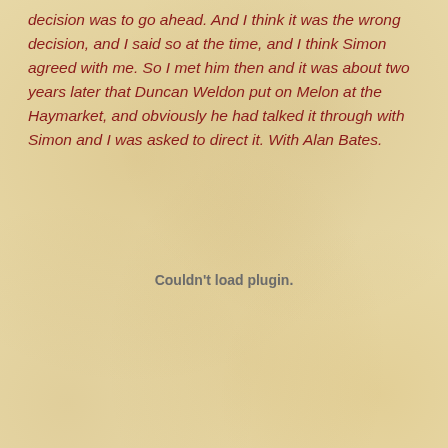decision was to go ahead. And I think it was the wrong decision, and I said so at the time, and I think Simon agreed with me. So I met him then and it was about two years later that Duncan Weldon put on Melon at the Haymarket, and obviously he had talked it through with Simon and I was asked to direct it. With Alan Bates.
Couldn't load plugin.